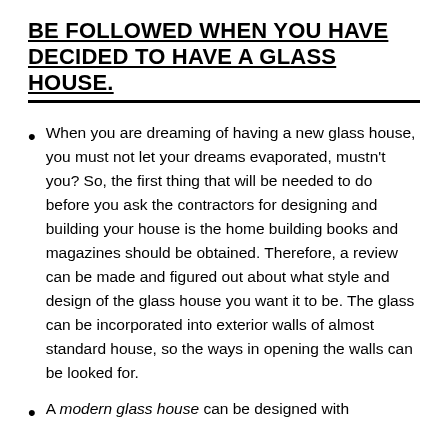BE FOLLOWED WHEN YOU HAVE DECIDED TO HAVE A GLASS HOUSE.
When you are dreaming of having a new glass house, you must not let your dreams evaporated, mustn't you? So, the first thing that will be needed to do before you ask the contractors for designing and building your house is the home building books and magazines should be obtained. Therefore, a review can be made and figured out about what style and design of the glass house you want it to be. The glass can be incorporated into exterior walls of almost standard house, so the ways in opening the walls can be looked for.
A modern glass house can be designed with